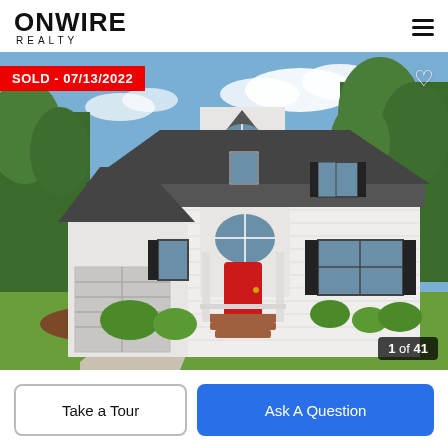ONWIRE REALTY
[Figure (photo): Exterior photo of a two-story white colonial home with red front door, black shutters, attached garage, brick steps, and manicured landscaping under a blue sky. A red 'SOLD - 07/13/2022' badge is overlaid in the top-left, a heart icon in the top-right, and '1 of 41' counter in the bottom-right.]
Take a Tour
Ask A Question